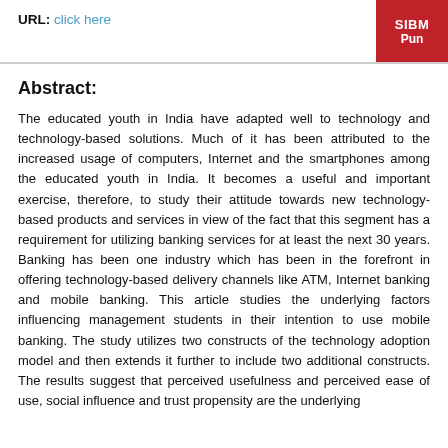URL: click here
Abstract:
The educated youth in India have adapted well to technology and technology-based solutions. Much of it has been attributed to the increased usage of computers, Internet and the smartphones among the educated youth in India. It becomes a useful and important exercise, therefore, to study their attitude towards new technology-based products and services in view of the fact that this segment has a requirement for utilizing banking services for at least the next 30 years. Banking has been one industry which has been in the forefront in offering technology-based delivery channels like ATM, Internet banking and mobile banking. This article studies the underlying factors influencing management students in their intention to use mobile banking. The study utilizes two constructs of the technology adoption model and then extends it further to include two additional constructs. The results suggest that perceived usefulness and perceived ease of use, social influence and trust propensity are the underlying